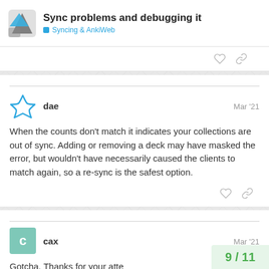Sync problems and debugging it — Syncing & AnkiWeb
When the counts don't match it indicates your collections are out of sync. Adding or removing a deck may have masked the error, but wouldn't have necessarily caused the clients to match again, so a re-sync is the safest option.
Gotcha. Thanks for your atte
9 / 11